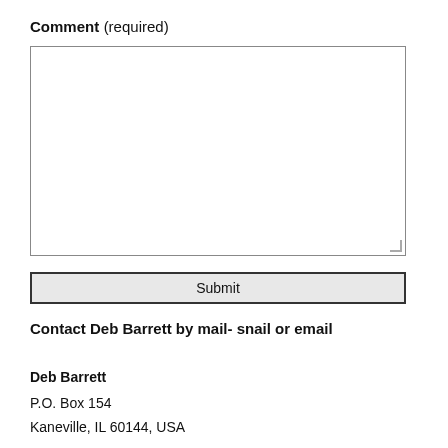Comment (required)
[Figure (other): Empty comment textarea box with resize handle]
[Figure (other): Submit button]
Contact Deb Barrett by mail- snail or email
Deb Barrett
P.O. Box 154
Kaneville, IL 60144, USA